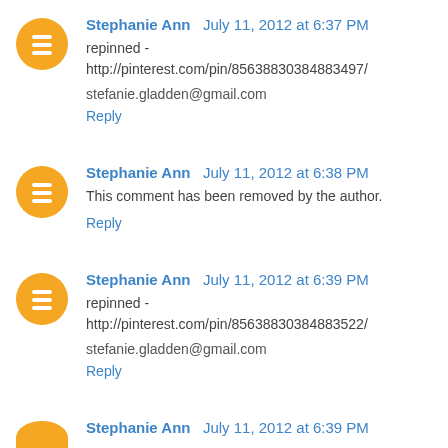Stephanie Ann  July 11, 2012 at 6:37 PM
repinned - http://pinterest.com/pin/85638830384883497/
stefanie.gladden@gmail.com
Reply
Stephanie Ann  July 11, 2012 at 6:38 PM
This comment has been removed by the author.
Reply
Stephanie Ann  July 11, 2012 at 6:39 PM
repinned - http://pinterest.com/pin/85638830384883522/
stefanie.gladden@gmail.com
Reply
Stephanie Ann  July 11, 2012 at 6:39 PM